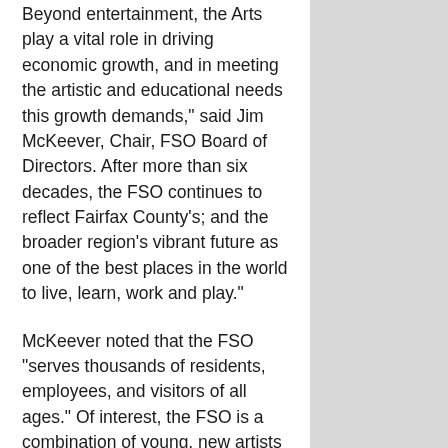Beyond entertainment, the Arts play a vital role in driving economic growth, and in meeting the artistic and educational needs this growth demands," said Jim McKeever, Chair, FSO Board of Directors. After more than six decades, the FSO continues to reflect Fairfax County's; and the broader region's vibrant future as one of the best places in the world to live, learn, work and play."
McKeever noted that the FSO “serves thousands of residents, employees, and visitors of all ages.” Of interest, the FSO is a combination of young, new artists performing together with more veteran musicians. About one-third are active duty, retired and former military service members.
“Live orchestral music provides us with pure entertainment, as well as allowing us to revel in human artistic achievement. It is also an inspiration for creativity in our lives, and a universal bond that can break down social